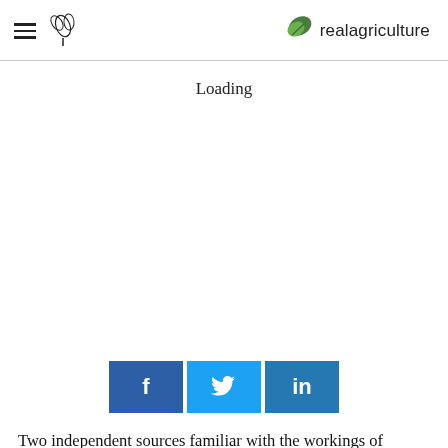realagriculture
Loading
[Figure (other): Social share buttons: Facebook (f), Twitter (bird icon), LinkedIn (in)]
Two independent sources familiar with the workings of Ontario's legislature have confirmed